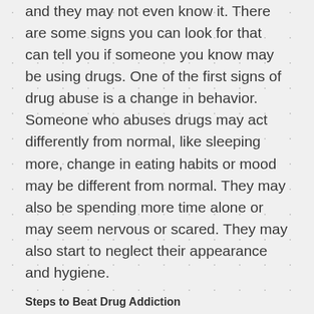and they may not even know it. There are some signs you can look for that can tell you if someone you know may be using drugs. One of the first signs of drug abuse is a change in behavior. Someone who abuses drugs may act differently from normal, like sleeping more, change in eating habits or mood may be different from normal. They may also be spending more time alone or may seem nervous or scared. They may also start to neglect their appearance and hygiene.
Steps to Beat Drug Addiction
Drug addiction is a serious and dangerous condition, which can lead to physical dependence and a variety of social problems. The good news is that addiction is treatable when approached at a specialized treatment center.